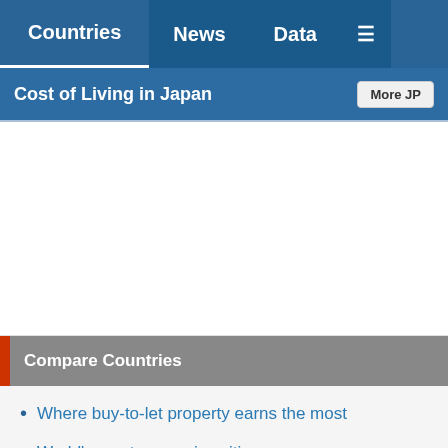Countries | News | Data | Menu
Cost of Living in Japan
Compare Countries
Where buy-to-let property earns the most
World's most expensive cities
Most highly-taxed countries